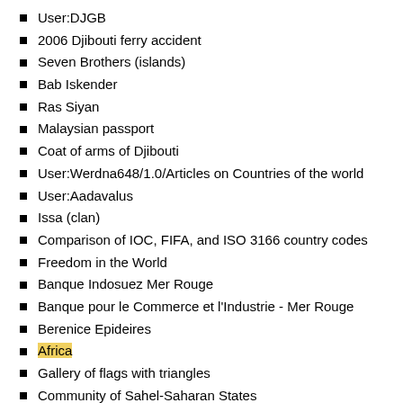User:DJGB
2006 Djibouti ferry accident
Seven Brothers (islands)
Bab Iskender
Ras Siyan
Malaysian passport
Coat of arms of Djibouti
User:Werdna648/1.0/Articles on Countries of the world
User:Aadavalus
Issa (clan)
Comparison of IOC, FIFA, and ISO 3166 country codes
Freedom in the World
Banque Indosuez Mer Rouge
Banque pour le Commerce et l'Industrie - Mer Rouge
Berenice Epideires
Africa
Gallery of flags with triangles
Community of Sahel-Saharan States
User:Electionworld/Maps of countries
List of countries by number of total troops
Islamic Courts Union
Template:Djibouti-stub